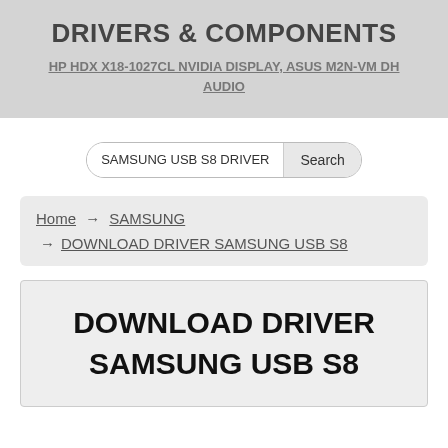DRIVERS & COMPONENTS
HP HDX X18-1027CL NVIDIA DISPLAY, ASUS M2N-VM DH AUDIO
SAMSUNG USB S8 DRIVER  Search
Home → SAMSUNG → DOWNLOAD DRIVER SAMSUNG USB S8
DOWNLOAD DRIVER SAMSUNG USB S8